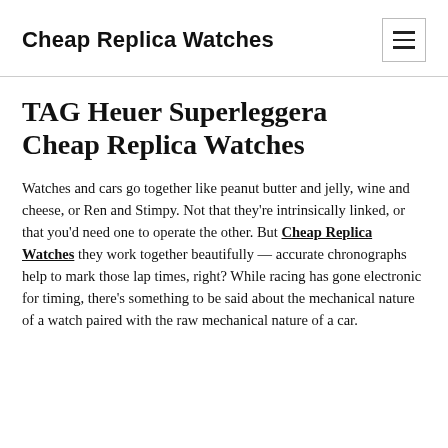Cheap Replica Watches
TAG Heuer Superleggera Cheap Replica Watches
Watches and cars go together like peanut butter and jelly, wine and cheese, or Ren and Stimpy. Not that they're intrinsically linked, or that you'd need one to operate the other. But Cheap Replica Watches they work together beautifully — accurate chronographs help to mark those lap times, right? While racing has gone electronic for timing, there's something to be said about the mechanical nature of a watch paired with the raw mechanical nature of a car.